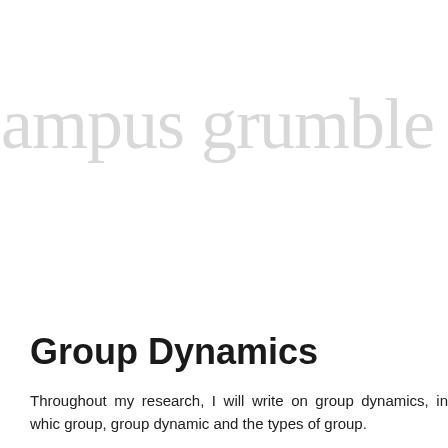campus grumble
Group Dynamics
Throughout my research, I will write on group dynamics, in which group, group dynamic and the types of group.